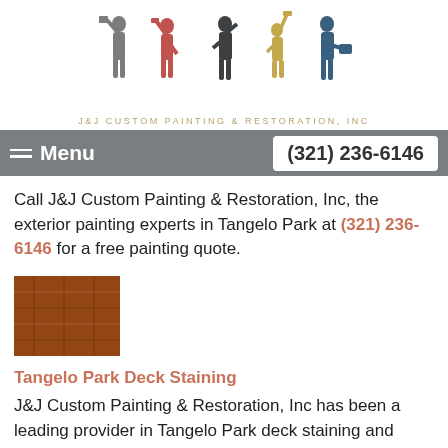[Figure (logo): J&J Custom Painting & Restoration, Inc logo with five painter silhouettes in grey, red, dark grey, gold, and blue, and text 'J&J CUSTOM PAINTING & RESTORATION, INC' below]
Menu   (321) 236-6146
Call J&J Custom Painting & Restoration, Inc, the exterior painting experts in Tangelo Park at (321) 236-6146 for a free painting quote.
[Figure (photo): Thumbnail photo of a stained wood deck with reddish-brown tones]
Tangelo Park Deck Staining
J&J Custom Painting & Restoration, Inc has been a leading provider in Tangelo Park deck staining and other staining services for 7 years. Call (321) 236-6146 today for a FREE quote!
[Figure (photo): Thumbnail photo of hands working on a wooden surface, partially visible at bottom]